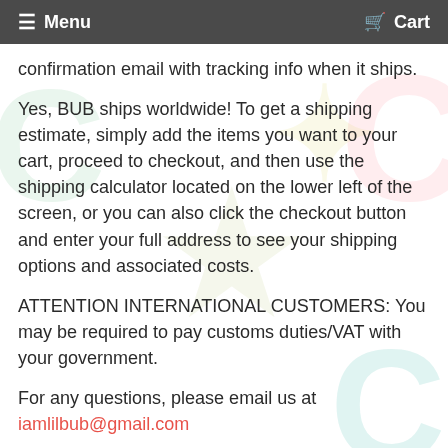Menu   Cart
confirmation email with tracking info when it ships.
Yes, BUB ships worldwide! To get a shipping estimate, simply add the items you want to your cart, proceed to checkout, and then use the shipping calculator located on the lower left of the screen, or you can also click the checkout button and enter your full address to see your shipping options and associated costs.
ATTENTION INTERNATIONAL CUSTOMERS: You may be required to pay customs duties/VAT with your government.
For any questions, please email us at iamlilbub@gmail.com